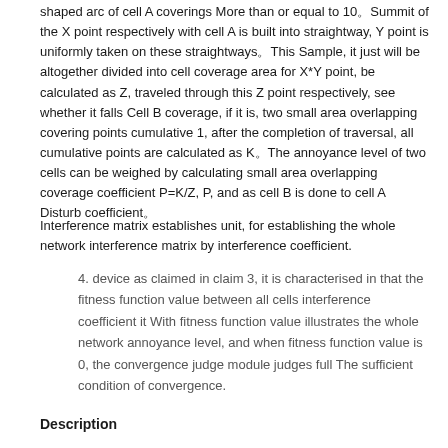shaped arc of cell A coverings More than or equal to 10。Summit of the X point respectively with cell A is built into straightway, Y point is uniformly taken on these straightways。This Sample, it just will be altogether divided into cell coverage area for X*Y point, be calculated as Z, traveled through this Z point respectively, see whether it falls Cell B coverage, if it is, two small area overlapping covering points cumulative 1, after the completion of traversal, all cumulative points are calculated as K。The annoyance level of two cells can be weighed by calculating small area overlapping coverage coefficient P=K/Z, P, and as cell B is done to cell A Disturb coefficient。
Interference matrix establishes unit, for establishing the whole network interference matrix by interference coefficient.
4. device as claimed in claim 3, it is characterised in that the fitness function value between all cells interference coefficient it With fitness function value illustrates the whole network annoyance level, and when fitness function value is 0, the convergence judge module judges full The sufficient condition of convergence.
Description